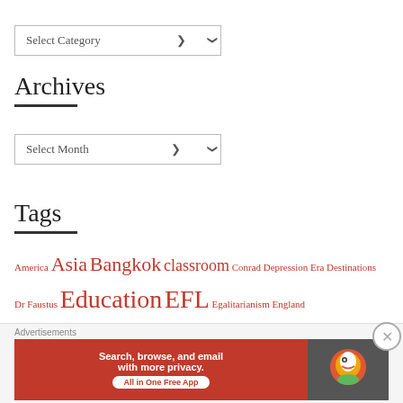Select Category
Archives
Select Month
Tags
America Asia Bangkok classroom Conrad Depression Era Destinations Dr Faustus Education EFL Egalitarianism England English English language ESL Etiquette Feedback Flood Formative Assessment Functional Skills Government Grammar Groupwork GTCNI Heart of Darkness History Holiday Ibiza intelligences Internet Jews language Language Acquisition
[Figure (screenshot): DuckDuckGo advertisement banner: orange/red background with text 'Search, browse, and email with more privacy. All in One Free App' and DuckDuckGo logo on dark background]